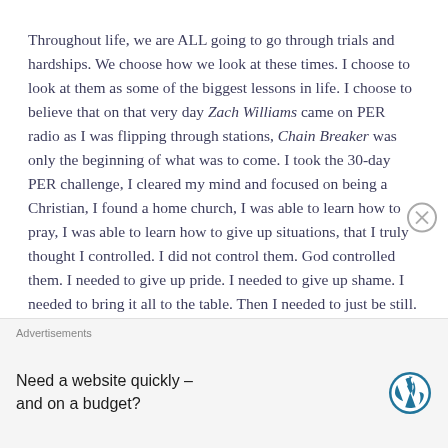Throughout life, we are ALL going to go through trials and hardships. We choose how we look at these times. I choose to look at them as some of the biggest lessons in life. I choose to believe that on that very day Zach Williams came on PER radio as I was flipping through stations, Chain Breaker was only the beginning of what was to come. I took the 30-day PER challenge, I cleared my mind and focused on being a Christian, I found a home church, I was able to learn how to pray, I was able to learn how to give up situations, that I truly thought I controlled. I did not control them. God controlled them. I needed to give up pride. I needed to give up shame. I needed to bring it all to the table. Then I needed to just be still.
My life is so different now and I am so different. As a
Advertisements
Need a website quickly – and on a budget?